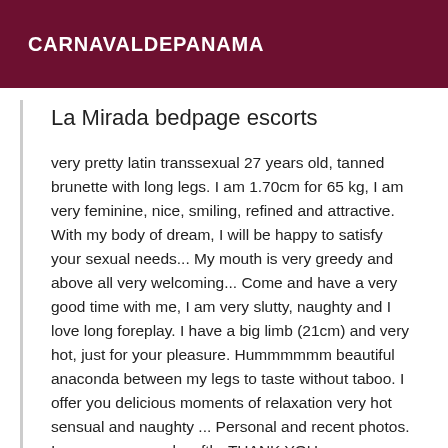CARNAVALDEPANAMA
La Mirada bedpage escorts
very pretty latin transsexual 27 years old, tanned brunette with long legs. I am 1.70cm for 65 kg, I am very feminine, nice, smiling, refined and attractive. With my body of dream, I will be happy to satisfy your sexual needs... My mouth is very greedy and above all very welcoming... Come and have a very good time with me, I am very slutty, naughty and I love long foreplay. I have a big limb (21cm) and very hot, just for your pleasure. Hummmmmm beautiful anaconda between my legs to taste without taboo. I offer you delicious moments of relaxation very hot sensual and naughty ... Personal and recent photos. I am new so speak softly. THANK YOU... WARNING! ...I AM AN EXPERT IN SOFT ANAL MASSAGE ONLY ON RDV.... I have a lot of experience, I would like to teach you forbidden things. Active (I have an ideal sex for your 1st time) and Passive without